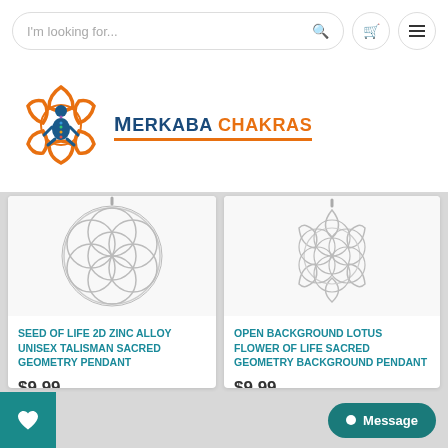I'm looking for...
[Figure (logo): Merkaba Chakras logo with orange geometric hexagonal flower shape and blue meditating figure with chakra colors, text reads MERKABA CHAKRAS]
[Figure (photo): Seed of Life 2D zinc alloy sacred geometry pendant, silver color, flower of life pattern]
SEED OF LIFE 2D ZINC ALLOY UNISEX TALISMAN SACRED GEOMETRY PENDANT
$9.99
[Figure (photo): Open background lotus flower of life sacred geometry pendant, silver color]
OPEN BACKGROUND LOTUS FLOWER OF LIFE SACRED GEOMETRY BACKGROUND PENDANT
$9.99
Message